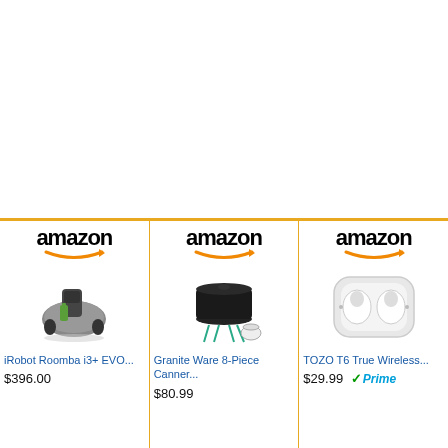[Figure (screenshot): Three Amazon product listing cards side by side showing: 1) iRobot Roomba i3+ EVO... at $396.00, 2) Granite Ware 8-Piece Canner... at $80.99, 3) TOZO T6 True Wireless... at $29.99 with Prime badge. Each card has the Amazon logo with orange arrow at the top.]